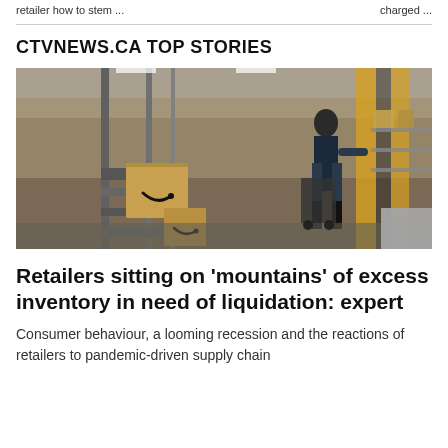retailer how to stem ... charged ...
CTVNEWS.CA TOP STORIES
[Figure (photo): Amazon fulfillment center warehouse with conveyor belts carrying Amazon-branded packages, worker in the background, yellow safety barriers visible.]
Retailers sitting on 'mountains' of excess inventory in need of liquidation: expert
Consumer behaviour, a looming recession and the reactions of retailers to pandemic-driven supply chain